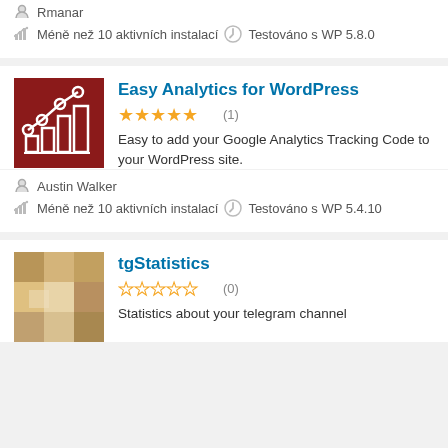Rmanar
Méně než 10 aktivních instalací   Testováno s WP 5.8.0
Easy Analytics for WordPress
★★★★★ (1)
Easy to add your Google Analytics Tracking Code to your WordPress site.
Austin Walker
Méně než 10 aktivních instalací   Testováno s WP 5.4.10
tgStatistics
☆☆☆☆☆ (0)
Statistics about your telegram channel